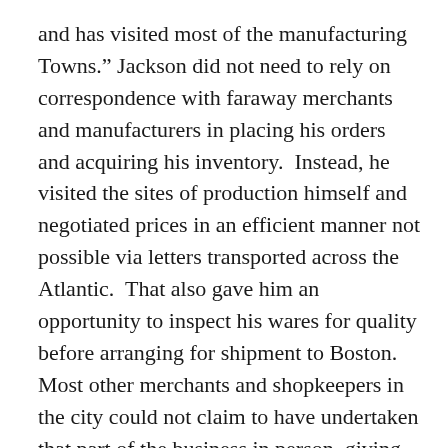and has visited most of the manufacturing Towns.” Jackson did not need to rely on correspondence with faraway merchants and manufacturers in placing his orders and acquiring his inventory. Instead, he visited the sites of production himself and negotiated prices in an efficient manner not possible via letters transported across the Atlantic. That also gave him an opportunity to inspect his wares for quality before arranging for shipment to Boston. Most other merchants and shopkeepers in the city could not claim to have undertaken that part of the business in person, giving Jackson an advantage to promote in his advertisement.